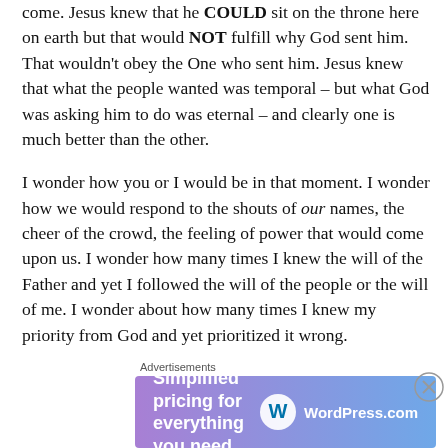come. Jesus knew that he COULD sit on the throne here on earth but that would NOT fulfill why God sent him. That wouldn't obey the One who sent him. Jesus knew that what the people wanted was temporal – but what God was asking him to do was eternal – and clearly one is much better than the other.
I wonder how you or I would be in that moment. I wonder how we would respond to the shouts of our names, the cheer of the crowd, the feeling of power that would come upon us. I wonder how many times I knew the will of the Father and yet I followed the will of the people or the will of me. I wonder about how many times I knew my priority from God and yet prioritized it wrong.
Advertisements
[Figure (infographic): WordPress.com advertisement banner with gradient purple-blue background. Text reads 'Simplified pricing for everything you need.' with WordPress.com logo on the right.]